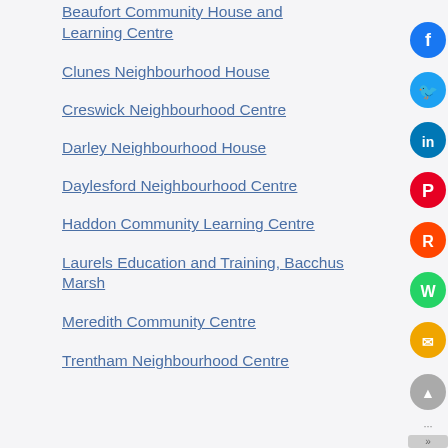Beaufort Community House and Learning Centre
Clunes Neighbourhood House
Creswick Neighbourhood Centre
Darley Neighbourhood House
Daylesford Neighbourhood Centre
Haddon Community Learning Centre
Laurels Education and Training, Bacchus Marsh
Meredith Community Centre
Trentham Neighbourhood Centre